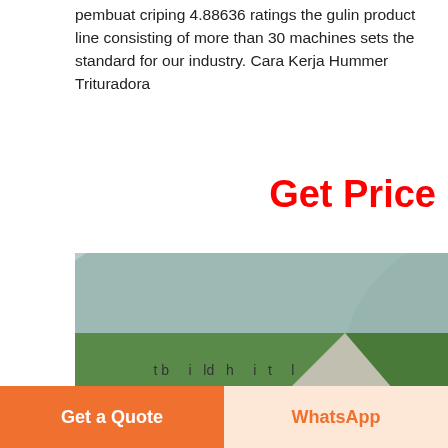pembuat criping 4.88636 ratings the gulin product line consisting of more than 30 machines sets the standard for our industry. Cara Kerja Hummer Trituradora
Get Price
[Figure (photo): Aerial/elevated view of a large industrial mining/crushing plant with conveyor belts, crushers, silos, and heavy machinery set against a green hillside background.]
alat berat
Free chat
t b i ld h i t l
Get a Quote
WhatsApp